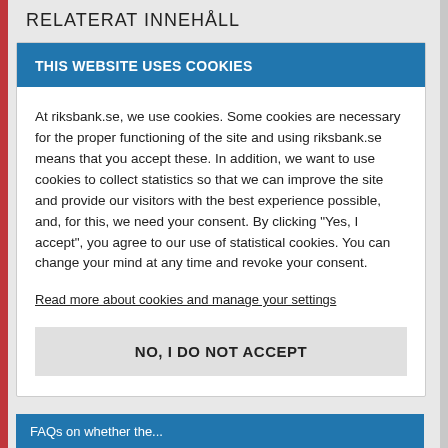RELATERAT INNEHÅLL
THIS WEBSITE USES COOKIES
At riksbank.se, we use cookies. Some cookies are necessary for the proper functioning of the site and using riksbank.se means that you accept these. In addition, we want to use cookies to collect statistics so that we can improve the site and provide our visitors with the best experience possible, and, for this, we need your consent. By clicking “Yes, I accept”, you agree to our use of statistical cookies. You can change your mind at any time and revoke your consent.
Read more about cookies and manage your settings
NO, I DO NOT ACCEPT
FAQs on whether the...